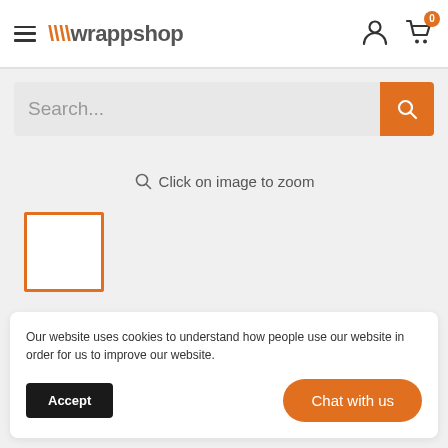[Figure (screenshot): Wrappshop website header with hamburger menu icon, logo, user account icon, and shopping cart icon with badge showing 0]
[Figure (screenshot): Search bar with placeholder text 'Search...' and orange search button]
Click on image to zoom
[Figure (screenshot): Orange-bordered thumbnail/image placeholder box]
Our website uses cookies to understand how people use our website in order for us to improve our website.
Accept
Chat with us